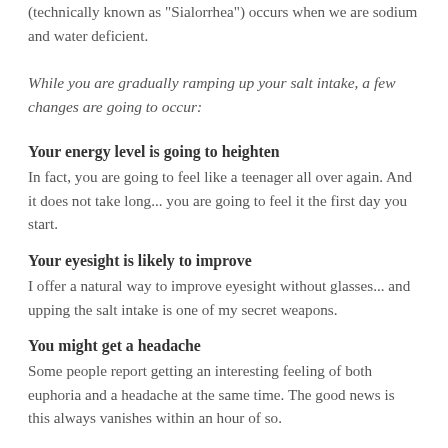(technically known as "Sialorrhea") occurs when we are sodium and water deficient.
While you are gradually ramping up your salt intake, a few changes are going to occur:
Your energy level is going to heighten
In fact, you are going to feel like a teenager all over again. And it does not take long... you are going to feel it the first day you start.
Your eyesight is likely to improve
I offer a natural way to improve eyesight without glasses... and upping the salt intake is one of my secret weapons.
You might get a headache
Some people report getting an interesting feeling of both euphoria and a headache at the same time. The good news is this always vanishes within an hour of so.